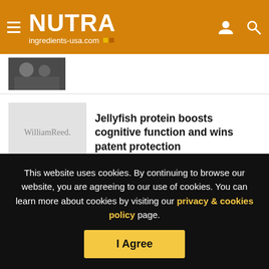NUTRA ingredients-usa.com
[Figure (photo): Partially visible photo of people in suits at top of page]
[Figure (logo): WilliamReed. logo placeholder in light gray thumbnail]
Jellyfish protein boosts cognitive function and wins patent protection
Show more
This website uses cookies. By continuing to browse our website, you are agreeing to our use of cookies. You can learn more about cookies by visiting our privacy & cookies policy page.
I Agree